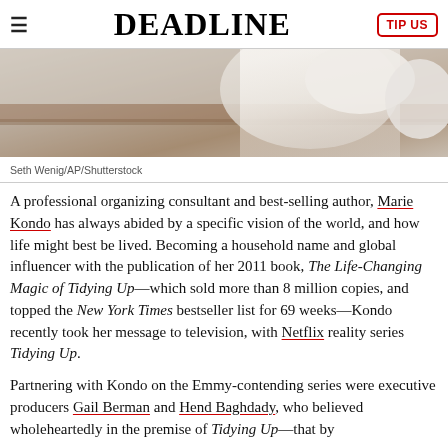DEADLINE
[Figure (photo): Partial view of a person in white clothing against a light wall background]
Seth Wenig/AP/Shutterstock
A professional organizing consultant and best-selling author, Marie Kondo has always abided by a specific vision of the world, and how life might best be lived. Becoming a household name and global influencer with the publication of her 2011 book, The Life-Changing Magic of Tidying Up—which sold more than 8 million copies, and topped the New York Times bestseller list for 69 weeks—Kondo recently took her message to television, with Netflix reality series Tidying Up.
Partnering with Kondo on the Emmy-contending series were executive producers Gail Berman and Hend Baghdady, who believed wholeheartedly in the premise of Tidying Up—that by